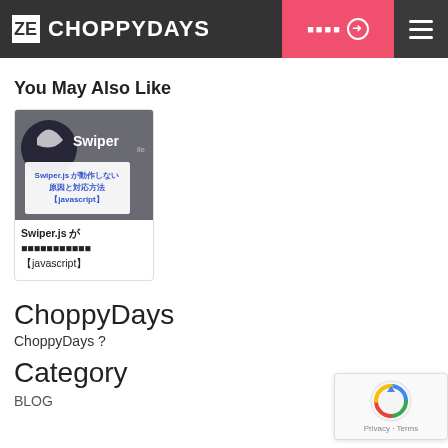CHOPPYDAYS
You May Also Like
[Figure (screenshot): Thumbnail card showing Swiper.js article with logo and overlay text in Japanese]
Swiper.js が動作しない原因と対応方法【javascript】
ChoppyDays
ChoppyDays ?
Category
BLOG